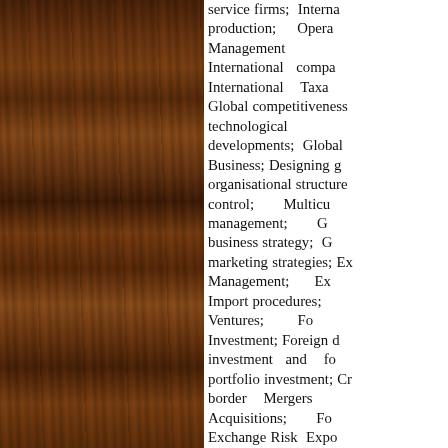[Figure (photo): Wood panel background occupying the left portion of the page, showing dark brown wood grain texture with vertical striations in various shades of brown and amber.]
service firms; International production; Operations Management International companies; International Taxation; Global competitiveness and technological developments; Global Business; Designing global organisational structures and control; Multicultural management; Global business strategy; Global marketing strategies; Export Management; Export-Import procedures; Joint Ventures; Foreign Direct Investment; Foreign direct investment and foreign portfolio investment; Cross-border Mergers and Acquisitions; Foreign Exchange Risk Exposure Management; World Financial Markets and International Banking; External Debt Management; Country Risk Analysis.